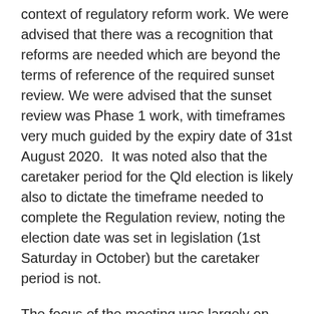context of regulatory reform work. We were advised that there was a recognition that reforms are needed which are beyond the terms of reference of the required sunset review. We were advised that the sunset review was Phase 1 work, with timeframes very much guided by the expiry date of 31st August 2020.  It was noted also that the caretaker period for the Qld election is likely also to dictate the timeframe needed to complete the Regulation review, noting the election date was set in legislation (1st Saturday in October) but the caretaker period is not.
The focus of the meeting was largely on identifying items that should be in the Phase 1 Sunset Review scope and discussing how they might be addressed. Then the COVID-19 pandemic began to directly impact the Australian community and soon afterward the Queensland state election saw the incumbent government returned and Minister de Brenni retain responsibility for building